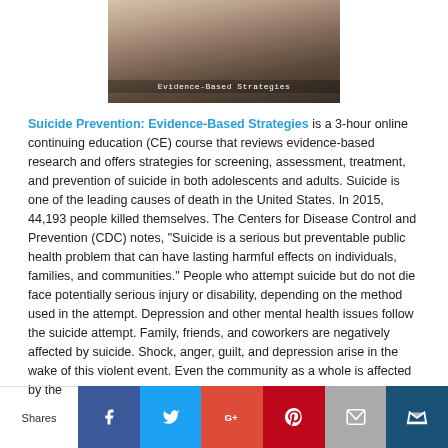[Figure (photo): Photo with overlay text reading 'Evidence-Based Strategies' — appears to show a person's legs/feet on a surface, with a book or course cover design]
Suicide Prevention: Evidence-Based Strategies is a 3-hour online continuing education (CE) course that reviews evidence-based research and offers strategies for screening, assessment, treatment, and prevention of suicide in both adolescents and adults. Suicide is one of the leading causes of death in the United States. In 2015, 44,193 people killed themselves. The Centers for Disease Control and Prevention (CDC) notes, "Suicide is a serious but preventable public health problem that can have lasting harmful effects on individuals, families, and communities." People who attempt suicide but do not die face potentially serious injury or disability, depending on the method used in the attempt. Depression and other mental health issues follow the suicide attempt. Family, friends, and coworkers are negatively affected by suicide. Shock, anger, guilt, and depression arise in the wake of this violent event. Even the community as a whole is affected by the
Shares | Facebook | Twitter | Google+ | Pinterest | Email | Share